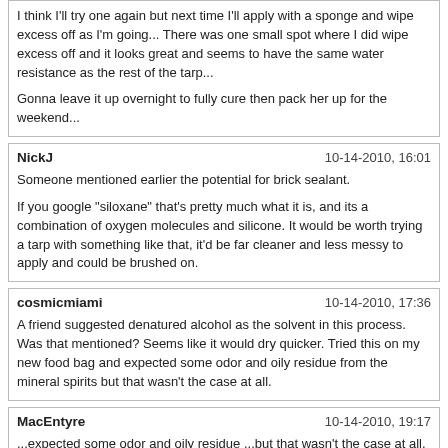I think I'll try one again but next time I'll apply with a sponge and wipe excess off as I'm going... There was one small spot where I did wipe excess off and it looks great and seems to have the same water resistance as the rest of the tarp...

Gonna leave it up overnight to fully cure then pack her up for the weekend...
NickJ | 10-14-2010, 16:01
Someone mentioned earlier the potential for brick sealant.

If you google "siloxane" that's pretty much what it is, and its a combination of oxygen molecules and silicone. It would be worth trying a tarp with something like that, it'd be far cleaner and less messy to apply and could be brushed on.
cosmicmiami | 10-14-2010, 17:36
A friend suggested denatured alcohol as the solvent in this process. Was that mentioned? Seems like it would dry quicker. Tried this on my new food bag and expected some odor and oily residue from the mineral spirits but that wasn't the case at all.
MacEntyre | 10-14-2010, 19:17
...expected some odor and oily residue ...but that wasn't the case at all. That's because denatured alcohol (ethanol) and mineral spirits (petroleum distillates) are totally different things.
Knotty | 10-14-2010, 19:52
Denatured alcohol might be worth a try but only with the dunk and squeeze method. Would probably evaporate to fast for brushing on.

I think that even when we use mineral spirits the silicone caulk doesn't actually